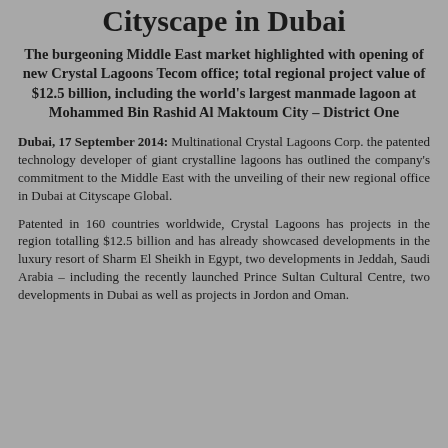Cityscape in Dubai
The burgeoning Middle East market highlighted with opening of new Crystal Lagoons Tecom office; total regional project value of $12.5 billion, including the world's largest manmade lagoon at Mohammed Bin Rashid Al Maktoum City – District One
Dubai, 17 September 2014: Multinational Crystal Lagoons Corp. the patented technology developer of giant crystalline lagoons has outlined the company's commitment to the Middle East with the unveiling of their new regional office in Dubai at Cityscape Global.
Patented in 160 countries worldwide, Crystal Lagoons has projects in the region totalling $12.5 billion and has already showcased developments in the luxury resort of Sharm El Sheikh in Egypt, two developments in Jeddah, Saudi Arabia – including the recently launched Prince Sultan Cultural Centre, two developments in Dubai as well as projects in Jordon and Oman.